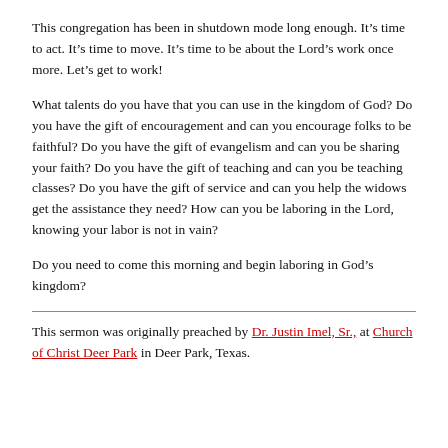This congregation has been in shutdown mode long enough. It's time to act. It's time to move. It's time to be about the Lord's work once more. Let's get to work!
What talents do you have that you can use in the kingdom of God? Do you have the gift of encouragement and can you encourage folks to be faithful? Do you have the gift of evangelism and can you be sharing your faith? Do you have the gift of teaching and can you be teaching classes? Do you have the gift of service and can you help the widows get the assistance they need? How can you be laboring in the Lord, knowing your labor is not in vain?
Do you need to come this morning and begin laboring in God's kingdom?
This sermon was originally preached by Dr. Justin Imel, Sr., at Church of Christ Deer Park in Deer Park, Texas.